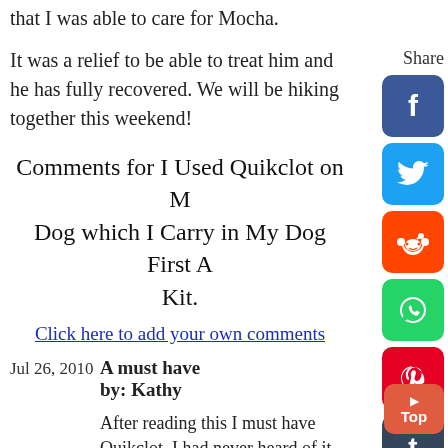that I was able to care for Mocha.
It was a relief to be able to treat him and he has fully recovered. We will be hiking together this weekend!
Share
[Figure (infographic): Social media share buttons: Facebook, Twitter, Reddit, WhatsApp, Pinterest, Tumblr]
Comments for I Used Quikclot on My Dog which I Carry in My Dog First Aid Kit.
Click here to add your own comments
Jul 26, 2010   A must have
by: Kathy
After reading this I must have Quikclot. I had never heard of it before but I need to add it to my first